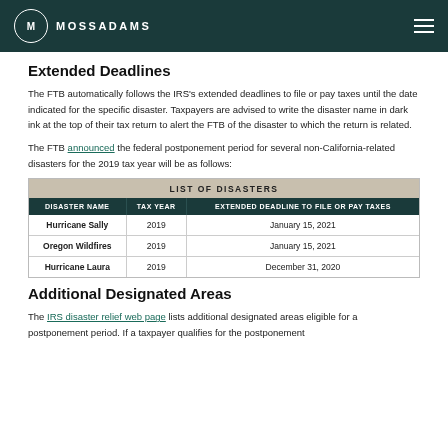MOSSADAMS
Extended Deadlines
The FTB automatically follows the IRS's extended deadlines to file or pay taxes until the date indicated for the specific disaster. Taxpayers are advised to write the disaster name in dark ink at the top of their tax return to alert the FTB of the disaster to which the return is related.
The FTB announced the federal postponement period for several non-California-related disasters for the 2019 tax year will be as follows:
| DISASTER NAME | TAX YEAR | EXTENDED DEADLINE TO FILE OR PAY TAXES |
| --- | --- | --- |
| Hurricane Sally | 2019 | January 15, 2021 |
| Oregon Wildfires | 2019 | January 15, 2021 |
| Hurricane Laura | 2019 | December 31, 2020 |
Additional Designated Areas
The IRS disaster relief web page lists additional designated areas eligible for a postponement period. If a taxpayer qualifies for the postponement